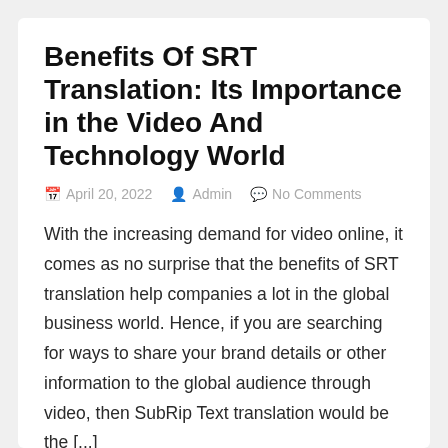Benefits Of SRT Translation: Its Importance in the Video And Technology World
April 20, 2022  Admin  No Comments
With the increasing demand for video online, it comes as no surprise that the benefits of SRT translation help companies a lot in the global business world. Hence, if you are searching for ways to share your brand details or other information to the global audience through video, then SubRip Text translation would be the [...]
Read More